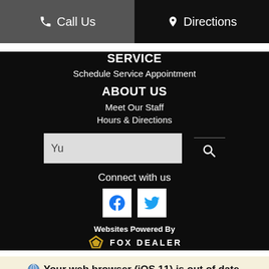☎ Call Us
📍 Directions
SERVICE
Schedule Service Appointment
ABOUT US
Meet Our Staff
Hours & Directions
[Figure (screenshot): Search input field with text 'Yu' and a search icon to the right]
Connect with us
[Figure (logo): Facebook and Twitter social media icons in white squares]
Websites Powered By
FOX DEALER
Your web browser (iOS 11) is out of date. Update your browser for more security, speed and the best experience on this site.
Update browser
Ignore